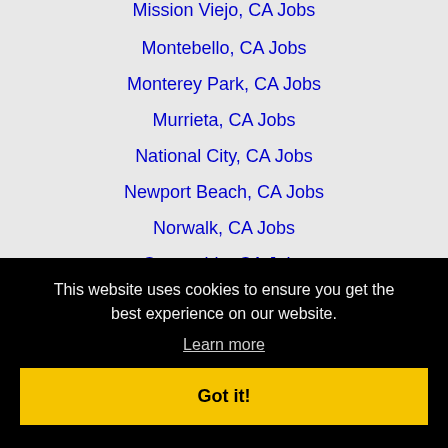Mission Viejo, CA Jobs
Montebello, CA Jobs
Monterey Park, CA Jobs
Murrieta, CA Jobs
National City, CA Jobs
Newport Beach, CA Jobs
Norwalk, CA Jobs
Oceanside, CA Jobs
Orange, CA Jobs
Oxnard, CA Jobs
This website uses cookies to ensure you get the best experience on our website.
Learn more
Got it!